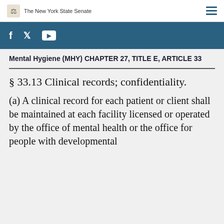The New York State Senate
[Figure (other): Social media bar with Facebook, Twitter, and YouTube icons on a teal/dark blue background]
Mental Hygiene (MHY) CHAPTER 27, TITLE E, ARTICLE 33
§ 33.13 Clinical records; confidentiality.
(a) A clinical record for each patient or client shall be maintained at each facility licensed or operated by the office of mental health or the office for people with developmental